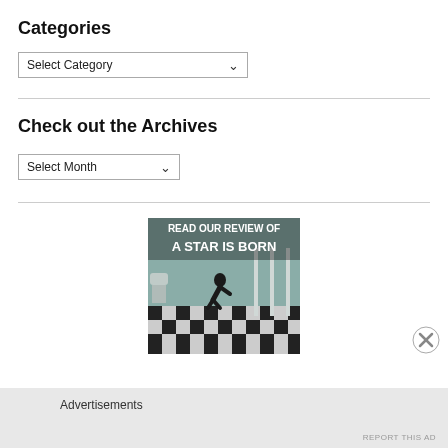Categories
[Figure (screenshot): Dropdown select box labeled 'Select Category' with a downward arrow]
Check out the Archives
[Figure (screenshot): Dropdown select box labeled 'Select Month' with a downward arrow]
[Figure (photo): Movie review advertisement image with text 'READ OUR REVIEW OF A STAR IS BORN' showing a person bending over in a bathroom setting with black and white checkered floor]
Advertisements